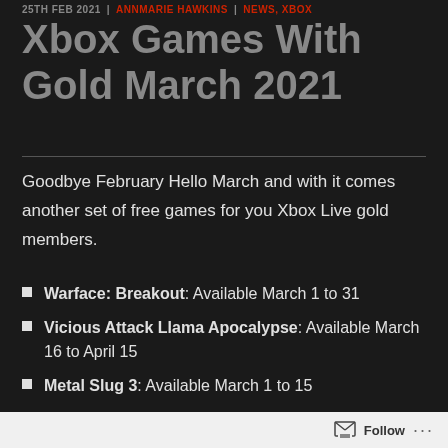25TH FEB 2021 | ANNMARIE HAWKINS | NEWS, XBOX
Xbox Games With Gold March 2021
Goodbye February Hello March and with it comes another set of free games for you Xbox Live gold members.
Warface: Breakout: Available March 1 to 31
Vicious Attack Llama Apocalypse: Available March 16 to April 15
Metal Slug 3: Available March 1 to 15
Follow ...